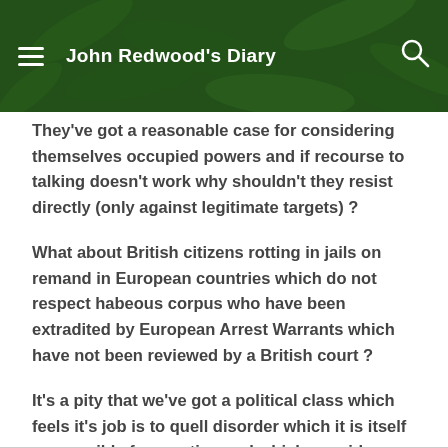John Redwood's Diary
They've got a reasonable case for considering themselves occupied powers and if recourse to talking doesn't work why shouldn't they resist directly (only against legitimate targets) ?
What about British citizens rotting in jails on remand in European countries which do not respect habeous corpus who have been extradited by European Arrest Warrants which have not been reviewed by a British court ?
It's a pity that we've got a political class which feels it's job is to quell disorder which it is itself responsible for creating and which considers itself too important to listen to little people .